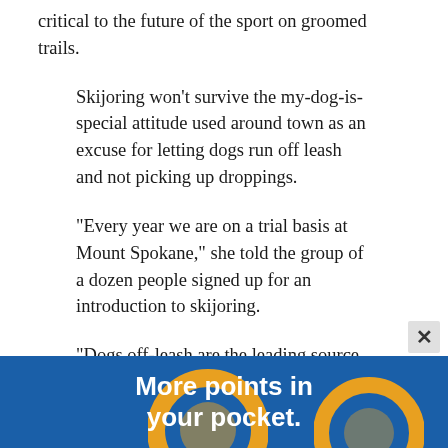critical to the future of the sport on groomed trails.
Skijoring won't survive the my-dog-is-special attitude used around town as an excuse for letting dogs run off leash and not picking up droppings.
“Every year we are on a trial basis at Mount Spokane,” she told the group of a dozen people signed up for an introduction to skijoring.
“Dogs off-leash are the leading source of complaints to park rangers year round.”
Skijoring gear includes a well-fitting pulling harness for the dog, a belt or harness for the skier and an 8- to 12-foot, s…
[Figure (infographic): Advertisement banner with blue background, orange circle graphics, and white bold text reading 'More points in your pocket.']